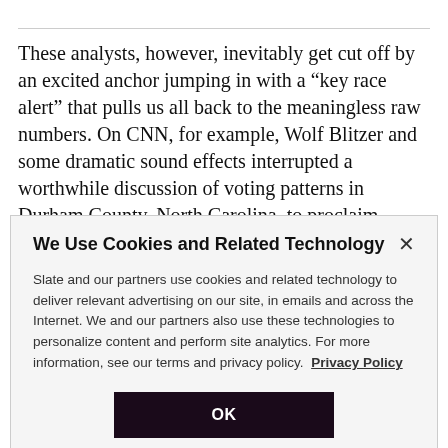These analysts, however, inevitably get cut off by an excited anchor jumping in with a “key race alert” that pulls us all back to the meaningless raw numbers. On CNN, for example, Wolf Blitzer and some dramatic sound effects interrupted a worthwhile discussion of voting patterns in Durham County, North Carolina, to proclaim that…
We Use Cookies and Related Technology
Slate and our partners use cookies and related technology to deliver relevant advertising on our site, in emails and across the Internet. We and our partners also use these technologies to personalize content and perform site analytics. For more information, see our terms and privacy policy. Privacy Policy
OK